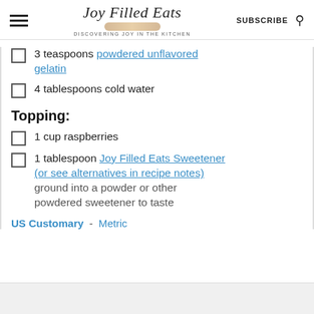Joy Filled Eats — DISCOVERING JOY IN THE KITCHEN — SUBSCRIBE
3 teaspoons powdered unflavored gelatin
4 tablespoons cold water
Topping:
1 cup raspberries
1 tablespoon Joy Filled Eats Sweetener (or see alternatives in recipe notes) ground into a powder or other powdered sweetener to taste
US Customary - Metric